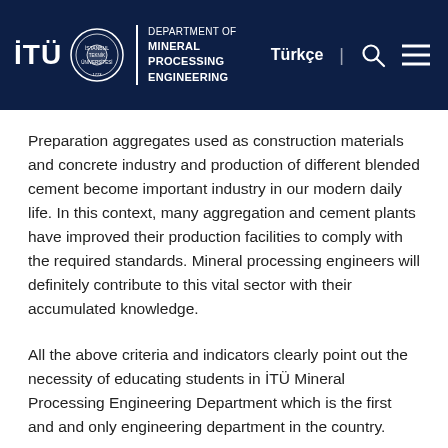İTÜ Department of Mineral Processing Engineering — Türkçe
Preparation aggregates used as construction materials and concrete industry and production of different blended cement become important industry in our modern daily life. In this context, many aggregation and cement plants have improved their production facilities to comply with the required standards. Mineral processing engineers will definitely contribute to this vital sector with their accumulated knowledge.
All the above criteria and indicators clearly point out the necessity of educating students in İTÜ Mineral Processing Engineering Department which is the first and and only engineering department in the country.